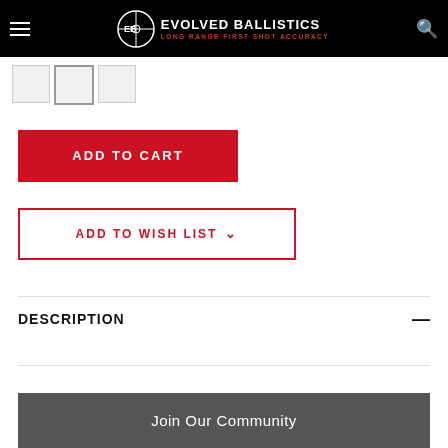EVOLVED BALLISTICS LONG RANGE FIRST SHOT ACCURACY
[Figure (other): Product image thumbnails strip showing three small product photo thumbnails, second one is active/selected]
ADD TO CART
ADD TO WISH LIST
DESCRIPTION
Join Our Community